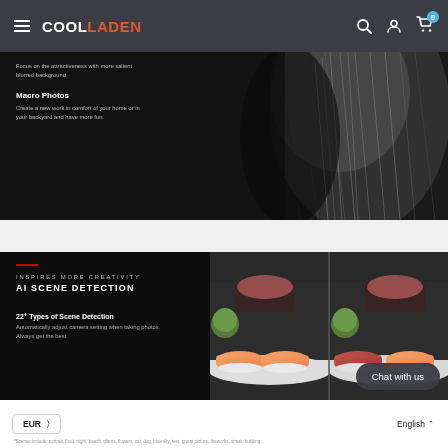COOLLADEN — Navigation bar with hamburger menu, logo, search, account, and cart icons
[Figure (photo): Black and white macro close-up photo of animal fur (cat), shown on the right side of a dark product section. Left side contains text about Macro Photos feature.]
Focus on the attractiveness with more salient blurred background
Macro Photos
Create a new work in comfort of your home or in your backyard and have more fun.
[Figure (photo): Split sushi photo showing nigiri salmon sushi on a white plate with wasabi and garnish, duplicated side by side to illustrate AI scene detection before/after or comparison.]
INSPIRES MORE CREATIVITY
AI SCENE DETECTION
22+ Types of Scene Detection
Automatically adjust camera setting when taking photos. Always get the best
Chat with us
EUR  English
*Scenes include: portrait, food, night, beach, plants, flowers, cat, dog, blue sky, text, group picture, fireworks, street, building…